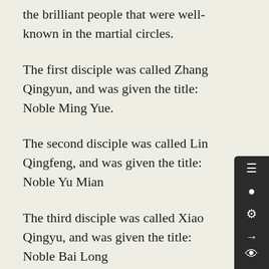the brilliant people that were well-known in the martial circles.
The first disciple was called Zhang Qingyun, and was given the title: Noble Ming Yue.
The second disciple was called Lin Qingfeng, and was given the title: Noble Yu Mian
The third disciple was called Xiao Qingyu, and was given the title: Noble Bai Long
These three were orphans picked up by the Original who was travelling across the martial world. They entered his sect when they were only around 7-8 years old. Since then, it has already been ten years.
Two years ago, while travelling, the Original saved a young lady who was harassed by thugs. After being rescued, the young lady